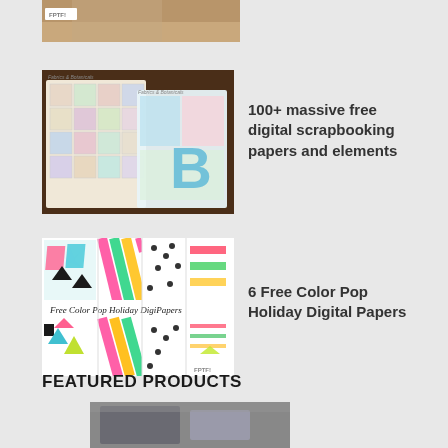[Figure (photo): Partial cropped view of craft/scrapbooking materials at the top of the page]
[Figure (photo): Scrapbooking papers and elements collection displayed on a dark wooden background]
100+ massive free digital scrapbooking papers and elements
[Figure (photo): Free Color Pop Holiday DigiPapers showing colorful holiday pattern papers with trees, stripes and snowflakes]
6 Free Color Pop Holiday Digital Papers
FEATURED PRODUCTS
[Figure (photo): Partially visible product image at the bottom of the page]